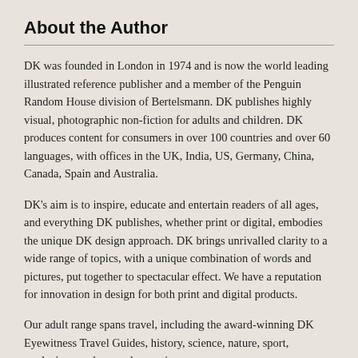About the Author
DK was founded in London in 1974 and is now the world leading illustrated reference publisher and a member of the Penguin Random House division of Bertelsmann. DK publishes highly visual, photographic non-fiction for adults and children. DK produces content for consumers in over 100 countries and over 60 languages, with offices in the UK, India, US, Germany, China, Canada, Spain and Australia.
DK's aim is to inspire, educate and entertain readers of all ages, and everything DK publishes, whether print or digital, embodies the unique DK design approach. DK brings unrivalled clarity to a wide range of topics, with a unique combination of words and pictures, put together to spectacular effect. We have a reputation for innovation in design for both print and digital products.
Our adult range spans travel, including the award-winning DK Eyewitness Travel Guides, history, science, nature, sport, gardening, cookery and parenting.